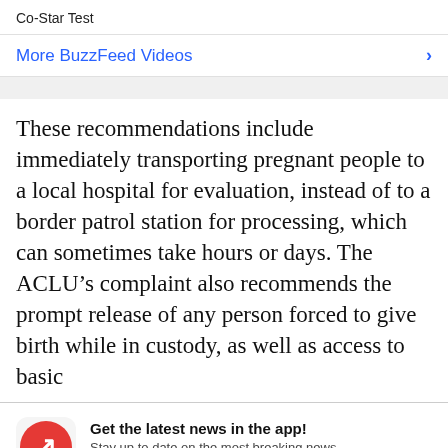Co-Star Test
More BuzzFeed Videos
These recommendations include immediately transporting pregnant people to a local hospital for evaluation, instead of to a border patrol station for processing, which can sometimes take hours or days. The ACLU’s complaint also recommends the prompt release of any person forced to give birth while in custody, as well as access to basic
Get the latest news in the app! Stay up to date on the most breaking news, all from your BuzzFeed app.
Maybe later
Get the app